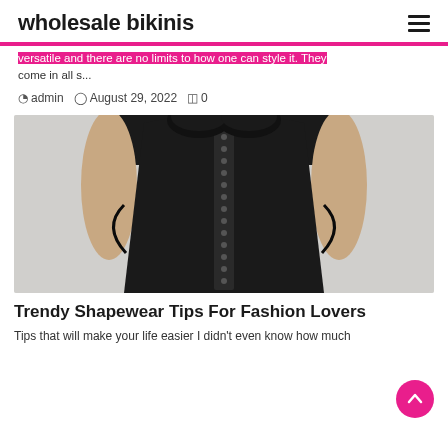wholesale bikinis
versatile and there are no limits to how one can style it. They come in all s...
admin   August 29, 2022   0
[Figure (photo): Woman wearing a black shapewear/bodysuit with hook-and-eye front closure, showing hourglass silhouette]
Trendy Shapewear Tips For Fashion Lovers
Tips that will make your life easier I didn't even know how much